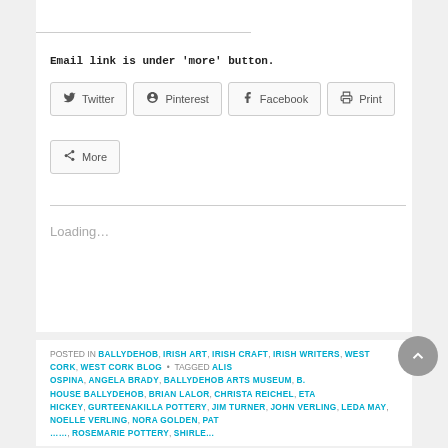Email link is under 'more' button.
Twitter | Pinterest | Facebook | Print | More
Loading...
POSTED IN BALLYDEHOB, IRISH ART, IRISH CRAFT, IRISH WRITERS, WEST CORK, WEST CORK BLOG • TAGGED ALIS... OSPINA, ANGELA BRADY, BALLYDEHOB ARTS MUSEUM, B... HOUSE BALLYDEHOB, BRIAN LALOR, CHRISTA REICHEL, ETA... HICKEY, GURTEENAKILLA POTTERY, JIM TURNER, JOHN VERLING, LEDA MAY, NOELLE VERLING, NORA GOLDEN, PAT ...